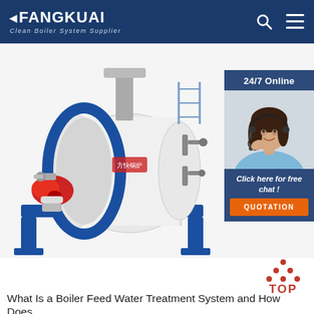FANGKUAI Clean Boiler System Supplier
[Figure (photo): Industrial water tube boiler with blue steel frame and red burner, white cylindrical body with Chinese branding, mounted on blue steel support structure. Photo composite with a customer service representative (woman with headset) in the top-right corner. Overlay panel reads: 24/7 Online, Click here for free chat!, QUOTATION button.]
[Figure (infographic): TOP navigation button with red dots arranged in triangle above the word TOP in red letters]
What Is a Boiler Feed Water Treatment System and How Does